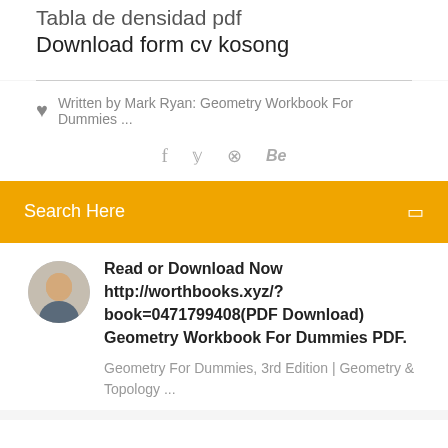Tabla de densidad pdf
Download form cv kosong
Written by Mark Ryan: Geometry Workbook For Dummies ...
f  y  ⊗  Be
Search Here
Read or Download Now http://worthbooks.xyz/?book=0471799408(PDF Download) Geometry Workbook For Dummies PDF.
Geometry For Dummies, 3rd Edition | Geometry & Topology ...
Category